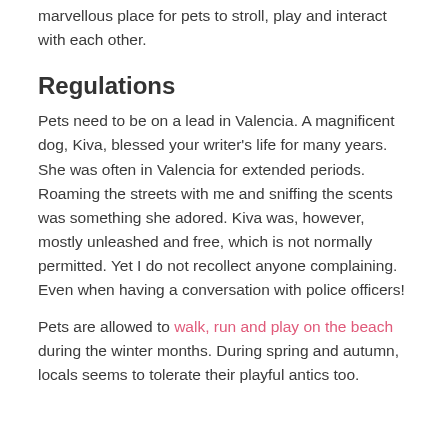marvellous place for pets to stroll, play and interact with each other.
Regulations
Pets need to be on a lead in Valencia. A magnificent dog, Kiva, blessed your writer's life for many years. She was often in Valencia for extended periods. Roaming the streets with me and sniffing the scents was something she adored. Kiva was, however, mostly unleashed and free, which is not normally permitted. Yet I do not recollect anyone complaining. Even when having a conversation with police officers!
Pets are allowed to walk, run and play on the beach during the winter months. During spring and autumn, locals seems to tolerate their playful antics too.